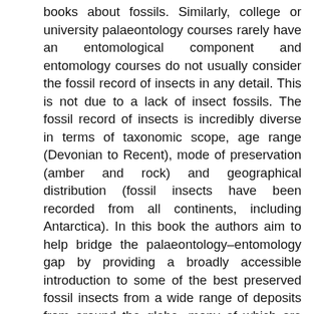books about fossils. Similarly, college or university palaeontology courses rarely have an entomological component and entomology courses do not usually consider the fossil record of insects in any detail. This is not due to a lack of insect fossils. The fossil record of insects is incredibly diverse in terms of taxonomic scope, age range (Devonian to Recent), mode of preservation (amber and rock) and geographical distribution (fossil insects have been recorded from all continents, including Antarctica). In this book the authors aim to help bridge the palaeontology–entomology gap by providing a broadly accessible introduction to some of the best preserved fossil insects from a wide range of deposits from around the globe, many of which are beautifully illustrated by colour photographs. Also covered are insect behaviour